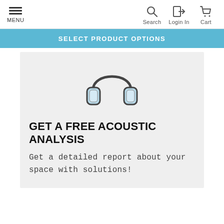MENU   Search   Login In   Cart
SELECT PRODUCT OPTIONS
[Figure (illustration): Headphones icon with light blue ear cups and dark outline]
GET A FREE ACOUSTIC ANALYSIS
Get a detailed report about your space with solutions!